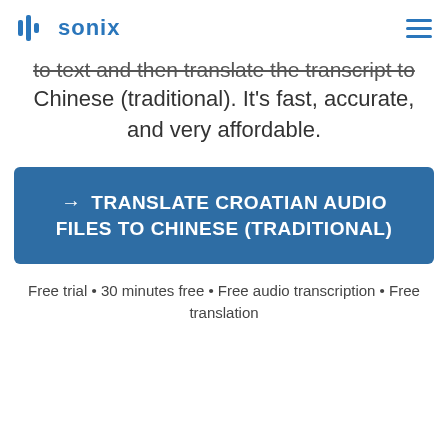sonix
to text and then translate the transcript to Chinese (traditional). It's fast, accurate, and very affordable.
→ TRANSLATE CROATIAN AUDIO FILES TO CHINESE (TRADITIONAL)
Free trial • 30 minutes free • Free audio transcription • Free translation